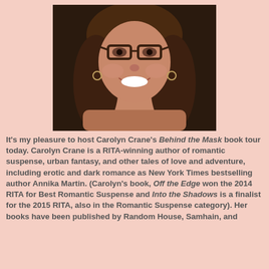[Figure (photo): Portrait photo of a smiling woman with brown hair, glasses, and hoop earrings against a dark background.]
It's my pleasure to host Carolyn Crane's Behind the Mask book tour today. Carolyn Crane is a RITA-winning author of romantic suspense, urban fantasy, and other tales of love and adventure, including erotic and dark romance as New York Times bestselling author Annika Martin. (Carolyn's book, Off the Edge won the 2014 RITA for Best Romantic Suspense and Into the Shadows is a finalist for the 2015 RITA, also in the Romantic Suspense category). Her books have been published by Random House, Samhain, and